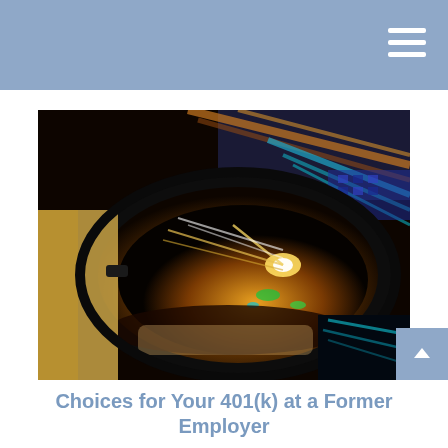[Figure (photo): Close-up photograph of a car side-view mirror at night, showing streaks of orange, blue and white lights reflected in the mirror, suggesting motion/speed on a road.]
Choices for Your 401(k) at a Former Employer